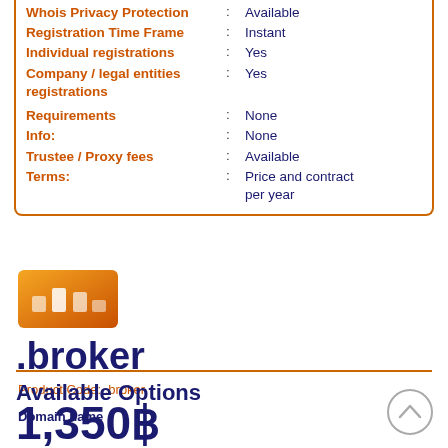| Property | Value |
| --- | --- |
| Whois Privacy Protection | Available |
| Registration Time Frame | Instant |
| Individual registrations | Yes |
| Company / legal entities registrations | Yes |
| Requirements | None |
| Info: | None |
| Trustee / Proxy fees | Available |
| Terms: | Price and contract per year |
[Figure (logo): Orange gradient product logo/icon for .broker domain]
.broker
Product Code: .broker
1,350฿
Available Options
Domain name